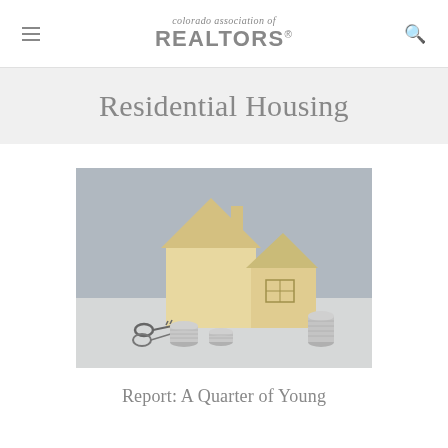colorado association of REALTORS®
Residential Housing
[Figure (photo): Wooden house models of two sizes with stacks of coins and car keys arranged in front on a light grey surface, symbolizing real estate and home ownership.]
Report: A Quarter of Young